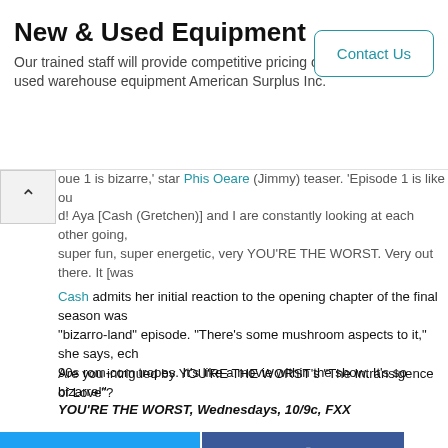New & Used Equipment
Our trained staff will provide competitive pricing on used warehouse equipment American Surplus Inc.
Contact Us
oue 1 is bizarre,' star Phis Oeare (Jimmy) teaser. 'Episode 1 is like out! Aya [Cash (Gretchen)] and I are constantly looking at each other going, super fun, super energetic, very YOU'RE THE WORST. Very out there. It [was
Cash admits her initial reaction to the opening chapter of the final season was "bizarro-land" episode. "There's some mushroom aspects to it," she says, echoing 90s rom-com tropes. It's like a movie within the show. It's so bizarre!"
Are you intrigued by YOU'RE THE WORST's “The Intransigence of Love”?
YOU'RE THE WORST, Wednesdays, 10/9c, FXX
[Figure (other): Social media share buttons grid: Twitter (blue), Facebook (dark blue), Email (grey), WhatsApp (green), SMS (blue), Copy link (green)]